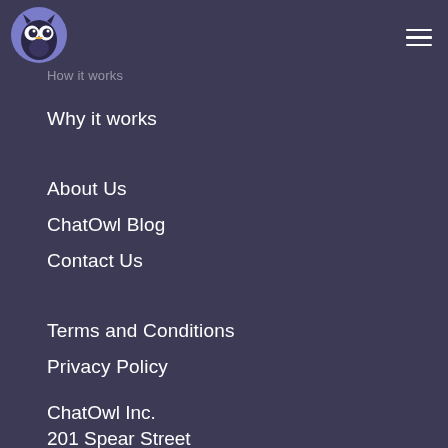[Figure (logo): ChatOwl owl logo — circular purple background with a stylized dark owl face, yellow beak and eyes]
How it works
Why it works
About Us
ChatOwl Blog
Contact Us
Terms and Conditions
Privacy Policy
ChatOwl Inc.
201 Spear Street
Suite 1100